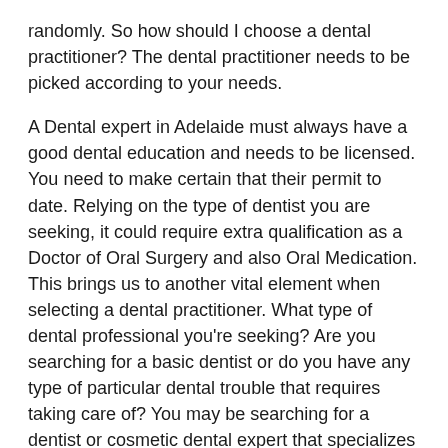randomly. So how should I choose a dental practitioner? The dental practitioner needs to be picked according to your needs.
A Dental expert in Adelaide must always have a good dental education and needs to be licensed. You need to make certain that their permit to date. Relying on the type of dentist you are seeking, it could require extra qualification as a Doctor of Oral Surgery and also Oral Medication. This brings us to another vital element when selecting a dental practitioner. What type of dental professional you're seeking? Are you searching for a basic dentist or do you have any type of particular dental trouble that requires taking care of? You may be searching for a dentist or cosmetic dental expert that specializes in cosmetic treatments such as teeth bleaching and also porcelain veneers.
If you ought to choose a basic dental professional, choose someone that can make you feel comfortable in